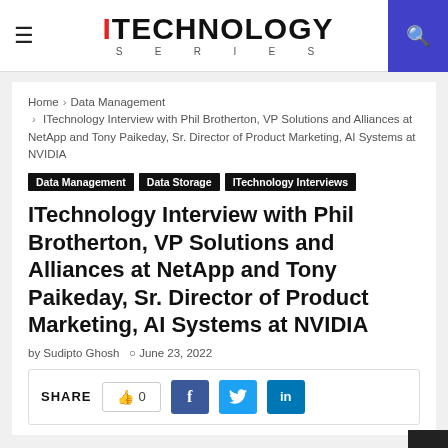iTECHNOLOGY SERIES
Home > Data Management > ITechnology Interview with Phil Brotherton, VP Solutions and Alliances at NetApp and Tony Paikeday, Sr. Director of Product Marketing, AI Systems at NVIDIA
Data Management
Data Storage
ITechnology Interviews
ITechnology Interview with Phil Brotherton, VP Solutions and Alliances at NetApp and Tony Paikeday, Sr. Director of Product Marketing, AI Systems at NVIDIA
by Sudipto Ghosh  June 23, 2022
SHARE  0